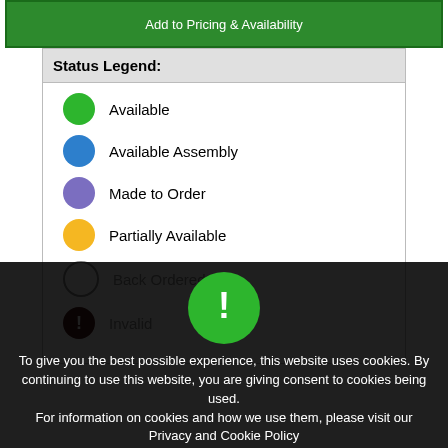Add to Pricing & Availability
Status Legend:
Available
Available Assembly
Made to Order
Partially Available
Back Ordered
Invalid
To give you the best possible experience, this website uses cookies. By continuing to use this website, you are giving consent to cookies being used. For information on cookies and how we use them, please visit our Privacy and Cookie Policy
Accept